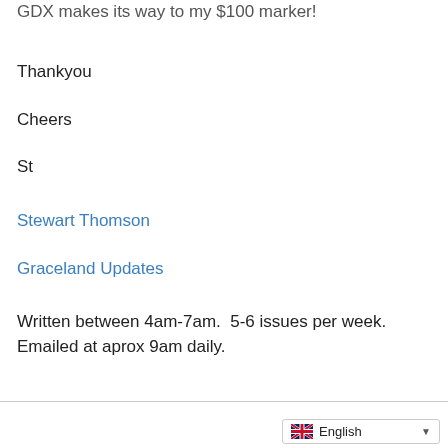GDX makes its way to my $100 marker!
Thankyou
Cheers
St
Stewart Thomson
Graceland Updates
Written between 4am-7am.  5-6 issues per week.  Emailed at aprox 9am daily.
English